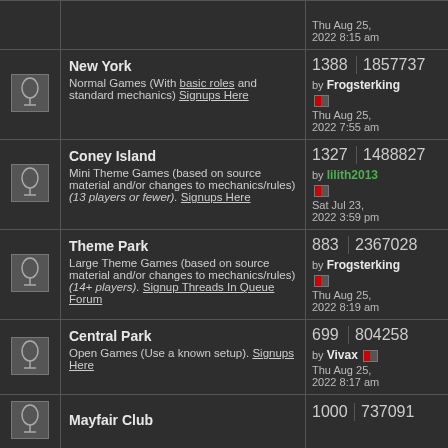|  | Forum | Topics/Posts |
| --- | --- | --- |
|  | Thu Aug 25, 2022 8:15 am |  |
| icon | New York
Normal Games (With basic roles and standard mechanics) Signups Here | 1388 | 1857737
by Frogsterking
Thu Aug 25, 2022 7:55 am |
| icon | Coney Island
Mini Theme Games (based on source material and/or changes to mechanics/rules) (13 players or fewer). Signups Here | 1327 | 1488827
by lilith2013
Sat Jul 23, 2022 3:59 pm |
| icon | Theme Park
Large Theme Games (based on source material and/or changes to mechanics/rules) (14+ players). Signup Threads In Queue Forum | 883 | 2367028
by Frogsterking
Thu Aug 25, 2022 8:19 am |
| icon | Central Park
Open Games (Use a known setup). Signups Here | 699 | 804258
by Vivax
Thu Aug 25, 2022 8:17 am |
| icon | Mayfair Club | 1000 | 737091... |